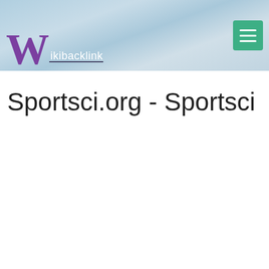Wikibacklink
Sportsci.org - Sportsci